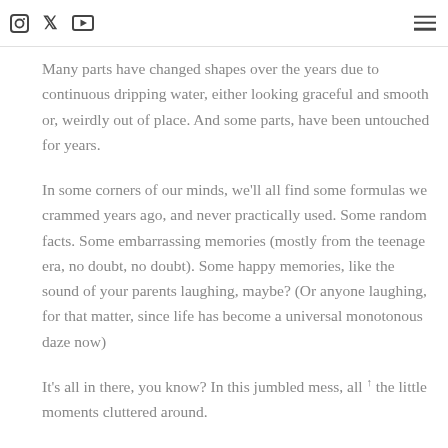[icons: instagram, twitter, youtube] [hamburger menu]
Many parts have changed shapes over the years due to continuous dripping water, either looking graceful and smooth or, weirdly out of place. And some parts, have been untouched for years.
In some corners of our minds, we'll all find some formulas we crammed years ago, and never practically used. Some random facts. Some embarrassing memories (mostly from the teenage era, no doubt, no doubt). Some happy memories, like the sound of your parents laughing, maybe? (Or anyone laughing, for that matter, since life has become a universal monotonous daze now)
It's all in there, you know? In this jumbled mess, all ↑ the little moments cluttered around.